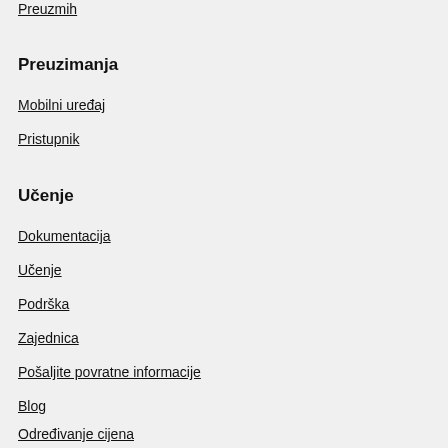Preuzmih
Preuzimanja
Mobilni uređaj
Pristupnik
Učenje
Dokumentacija
Učenje
Podrška
Zajednica
Pošaljite povratne informacije
Blog
Određivanje cijena